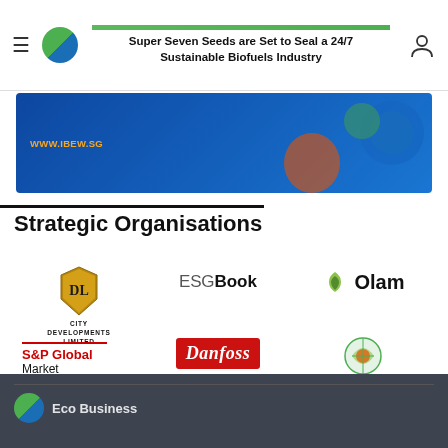Super Seven Seeds are Set to Seal a 24/7 Sustainable Biofuels Industry
[Figure (illustration): Advertisement banner for IBEW.SG with blue background showing industrial/globe imagery and text WWW.IBEW.SG]
Strategic Organisations
[Figure (logo): City Developments Limited logo - gold shield with CDL monogram and text CITY DEVELOPMENTS LIMITED]
[Figure (logo): ESG Book logo - text logo reading ESG Book in grey and black]
[Figure (logo): Olam logo - green leaf icon with text Olam]
[Figure (logo): S&P Global Market Intelligence logo - red text S&P Global with red underline and Market Intelligence below]
[Figure (logo): Danfoss logo - red rectangle with white script Danfoss and ENGINEERING TOMORROW below]
[Figure (logo): Reneum logo - green sphere/grid icon with text Reneum in green]
Eco Business